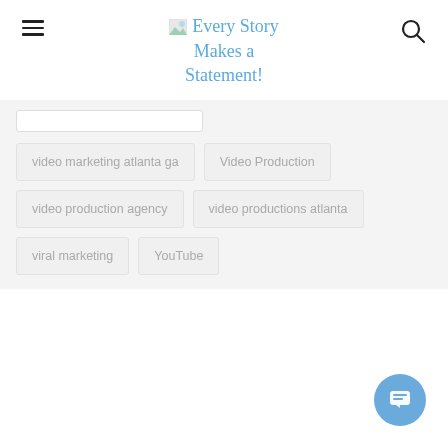Every Story Makes a Statement!
video marketing atlanta ga
Video Production
video production agency
video productions atlanta
viral marketing
YouTube